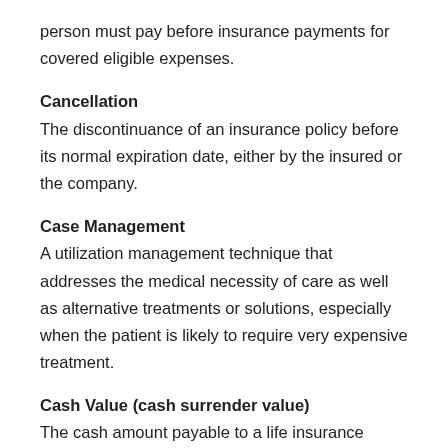person must pay before insurance payments for covered eligible expenses.
Cancellation
The discontinuance of an insurance policy before its normal expiration date, either by the insured or the company.
Case Management
A utilization management technique that addresses the medical necessity of care as well as alternative treatments or solutions, especially when the patient is likely to require very expensive treatment.
Cash Value (cash surrender value)
The cash amount payable to a life insurance